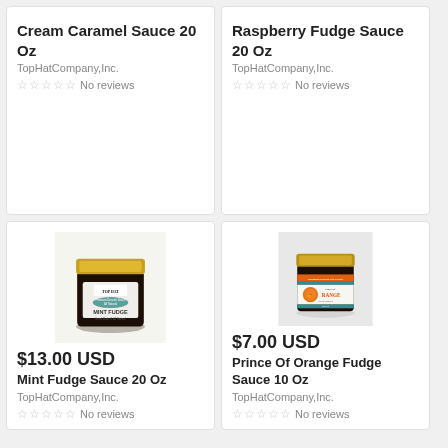Cream Caramel Sauce 20 Oz
TopHatCompany,Inc.
No reviews
Raspberry Fudge Sauce 20 Oz
TopHatCompany,Inc.
No reviews
[Figure (photo): Jar of Top Hat Mint Fudge sauce with gold lid and white label]
$13.00 USD
Mint Fudge Sauce 20 Oz
TopHatCompany,Inc.
No reviews
[Figure (photo): Jar of Prince of Orange Fudge sauce with gold lid and orange/teal label]
$7.00 USD
Prince Of Orange Fudge Sauce 10 Oz
TopHatCompany,Inc.
No reviews